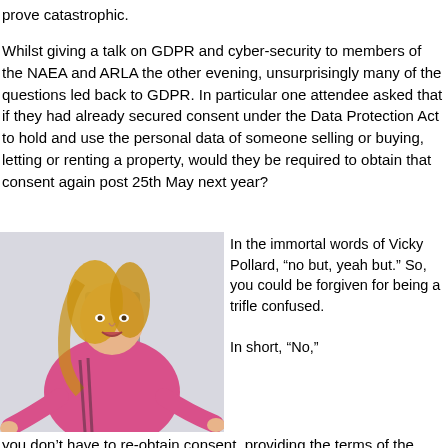prove catastrophic.
Whilst giving a talk on GDPR and cyber-security to members of the NAEA and ARLA the other evening, unsurprisingly many of the questions led back to GDPR. In particular one attendee asked that if they had already secured consent under the Data Protection Act to hold and use the personal data of someone selling or buying, letting or renting a property, would they be required to obtain that consent again post 25th May next year?
[Figure (photo): A woman with long blonde hair wearing a pink tracksuit jacket, gesturing with both hands outstretched in a shrugging pose, seated against a white background.]
In the immortal words of Vicky Pollard, “no but, yeah but.” So, you could be forgiven for being a trifle confused.
In short, “No,” you don’t have to re-obtain consent, providing the terms of the original consent you obtained are GDPR compliant.